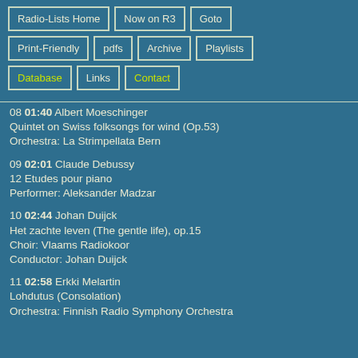Radio-Lists Home
Now on R3
Goto
Print-Friendly
pdfs
Archive
Playlists
Database
Links
Contact
08 01:40 Albert Moeschinger
Quintet on Swiss folksongs for wind (Op.53)
Orchestra: La Strimpellata Bern
09 02:01 Claude Debussy
12 Etudes pour piano
Performer: Aleksander Madzar
10 02:44 Johan Duijck
Het zachte leven (The gentle life), op.15
Choir: Vlaams Radiokoor
Conductor: Johan Duijck
11 02:58 Erkki Melartin
Lohdutus (Consolation)
Orchestra: Finnish Radio Symphony Orchestra